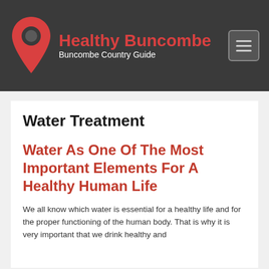[Figure (logo): Healthy Buncombe logo — map pin icon in red/orange with dark center, next to the text 'Healthy Buncombe' in red and 'Buncombe Country Guide' in white, on a dark gray background with a hamburger menu button in the top right]
Water Treatment
Water As One Of The Most Important Elements For A Healthy Human Life
We all know which water is essential for a healthy life and for the proper functioning of the human body. That is why it is very important that we drink healthy and